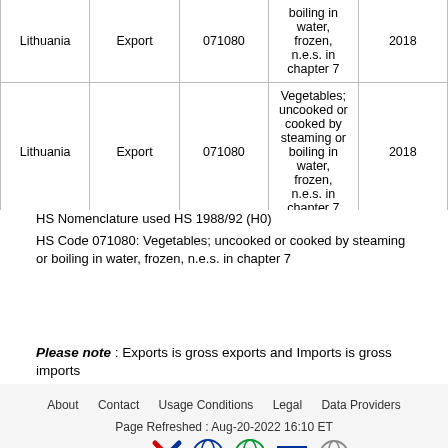| Country | Trade Flow | HS Code | Description | Year |
| --- | --- | --- | --- | --- |
| Lithuania | Export | 071080 | Vegetables; uncooked or cooked by steaming or boiling in water, frozen, n.e.s. in chapter 7 | 2018 |
| Lithuania | Export | 071080 | Vegetables; uncooked or cooked by steaming or boiling in water, frozen, n.e.s. in chapter 7 | 2018 |
| Lithuania | Export | 071080 | Vegetables; uncooked or cooked by steaming or boiling in water, frozen, n.e.s. in chapter 7 | 2018 |
| (partial) | (partial) | (partial) | Vegetables; uncooked or... | (partial) |
HS Nomenclature used HS 1988/92 (H0)
HS Code 071080: Vegetables; uncooked or cooked by steaming or boiling in water, frozen, n.e.s. in chapter 7
Please note : Exports is gross exports and Imports is gross imports
About   Contact   Usage Conditions   Legal   Data Providers
Page Refreshed : Aug-20-2022 16:10 ET
Partners [logos]